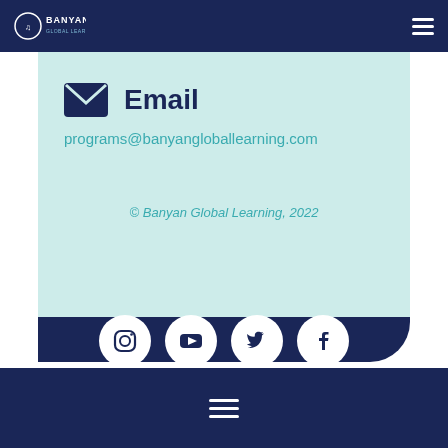Banyan Global Learning
Email
programs@banyangloballearning.com
© Banyan Global Learning, 2022
[Figure (infographic): Row of four white circular social media icons (Instagram, YouTube, Twitter, Facebook) on dark navy background]